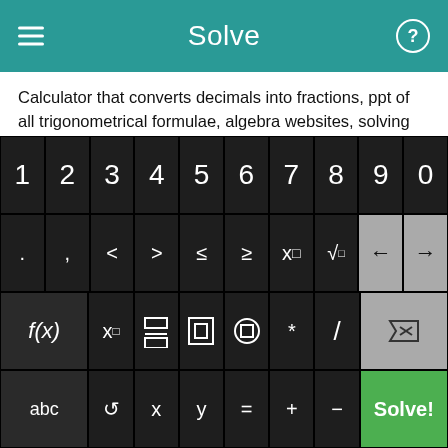Solve
Calculator that converts decimals into fractions, ppt of all trigonometrical formulae, algebra websites, solving intercepts on ti-89, factorization third degree polynom formula, algebra factoring cubed, ordered pair form algebraic equation.
Why do you turn a percent into a decimal?, online college calculator that tells least common multiple, "how to store equations" ti-89, converting powers into square roots, roots and radicals calculator, algerba 2, help, printable worksheets solving
[Figure (screenshot): Calculator keyboard with numeric keys 1-9,0, symbol keys including . , < > ≤ ≥ x□ √□ and navigation arrows, function keys f(x) x□ fraction absolute value parentheses * / delete, and bottom row abc, rotate, x, y, = + - and green Solve! button]